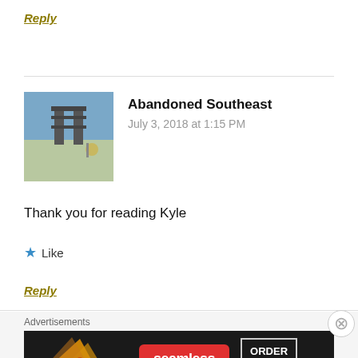Reply
Abandoned Southeast
July 3, 2018 at 1:15 PM
[Figure (photo): Avatar photo of Abandoned Southeast showing an industrial or tower structure against a blue sky]
Thank you for reading Kyle
Like
Reply
Advertisements
[Figure (photo): Seamless food delivery advertisement showing pizza slices with Seamless logo and ORDER NOW button]